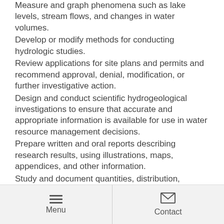Measure and graph phenomena such as lake levels, stream flows, and changes in water volumes.
Develop or modify methods for conducting hydrologic studies.
Review applications for site plans and permits and recommend approval, denial, modification, or further investigative action.
Design and conduct scientific hydrogeological investigations to ensure that accurate and appropriate information is available for use in water resource management decisions.
Prepare written and oral reports describing research results, using illustrations, maps, appendices, and other information.
Study and document quantities, distribution, disposition, and development of underground and surface waters.
Conduct short- and long-term climate assessments and study storm occurrences.
Menu   Contact